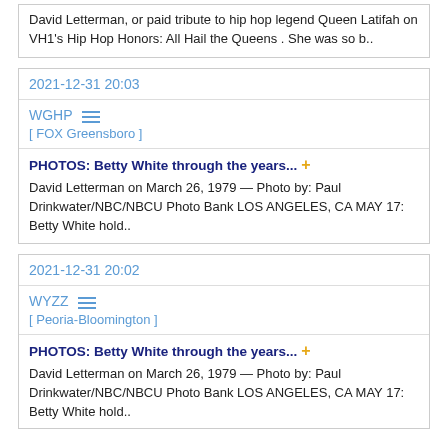David Letterman, or paid tribute to hip hop legend Queen Latifah on VH1's Hip Hop Honors: All Hail the Queens . She was so b..
2021-12-31 20:03
WGHP [ FOX Greensboro ]
PHOTOS: Betty White through the years... + David Letterman on March 26, 1979 — Photo by: Paul Drinkwater/NBC/NBCU Photo Bank LOS ANGELES, CA MAY 17: Betty White hold..
2021-12-31 20:02
WYZZ [ Peoria-Bloomington ]
PHOTOS: Betty White through the years... + David Letterman on March 26, 1979 — Photo by: Paul Drinkwater/NBC/NBCU Photo Bank LOS ANGELES, CA MAY 17: Betty White hold..